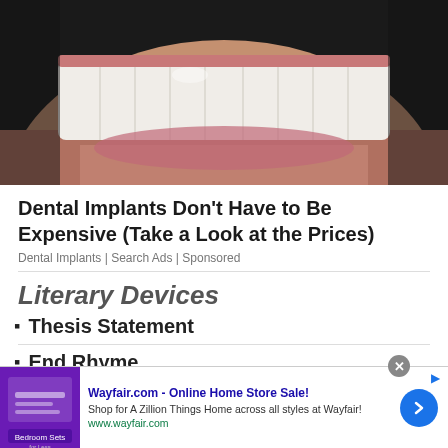[Figure (photo): Close-up photo of a person's smile showing white teeth and lips with stubble, dark background — dental implant advertisement image]
Dental Implants Don't Have to Be Expensive (Take a Look at the Prices)
Dental Implants | Search Ads | Sponsored
Literary Devices
Thesis Statement
End Rhyme
Allusion
[Figure (screenshot): Wayfair.com advertisement banner — title: 'Wayfair.com - Online Home Store Sale!', description: 'Shop for A Zillion Things Home across all styles at Wayfair!', url: www.wayfair.com, with purple bedroom sets thumbnail and blue arrow button]